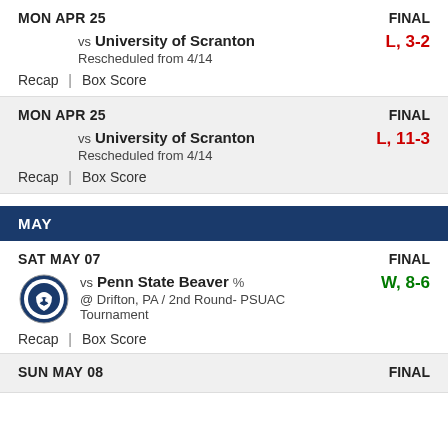MON APR 25 — FINAL
vs University of Scranton — L, 3-2 — Rescheduled from 4/14
Recap | Box Score
MON APR 25 — FINAL
vs University of Scranton — L, 11-3 — Rescheduled from 4/14
Recap | Box Score
MAY
SAT MAY 07 — FINAL
vs Penn State Beaver % — @ Drifton, PA / 2nd Round- PSUAC Tournament — W, 8-6
Recap | Box Score
SUN MAY 08 — FINAL